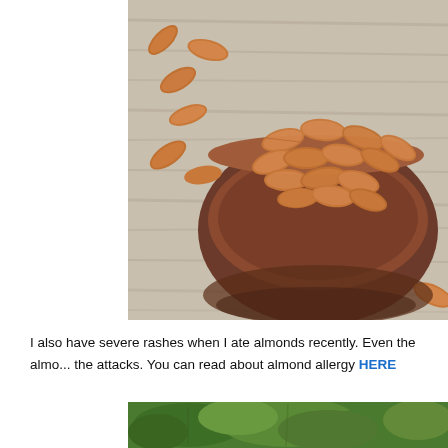[Figure (photo): A wooden bowl filled with almonds on a rustic wooden surface, with scattered almonds around it.]
I also have severe rashes when I ate almonds recently. Even the almo... the attacks. You can read about almond allergy HERE
[Figure (photo): Green leafy vegetables or herbs, partially visible at the bottom of the page.]